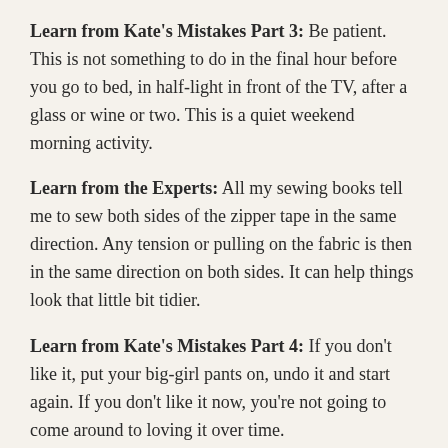Learn from Kate's Mistakes Part 3: Be patient. This is not something to do in the final hour before you go to bed, in half-light in front of the TV, after a glass or wine or two. This is a quiet weekend morning activity.
Learn from the Experts: All my sewing books tell me to sew both sides of the zipper tape in the same direction. Any tension or pulling on the fabric is then in the same direction on both sides. It can help things look that little bit tidier.
Learn from Kate's Mistakes Part 4: If you don't like it, put your big-girl pants on, undo it and start again. If you don't like it now, you're not going to come around to loving it over time.